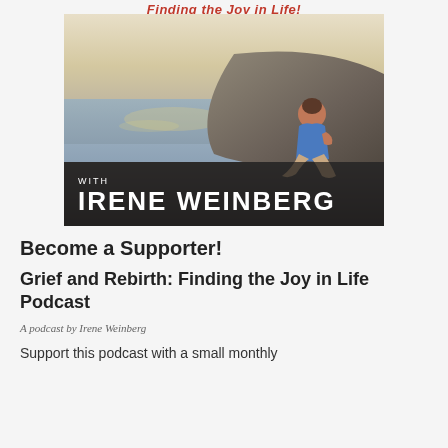Finding the Joy in Life!
[Figure (photo): Podcast cover image showing a person sitting on a rock by the sea at sunset, with overlay text 'WITH IRENE WEINBERG']
Become a Supporter!
Grief and Rebirth: Finding the Joy in Life Podcast
A podcast by Irene Weinberg
Support this podcast with a small monthly